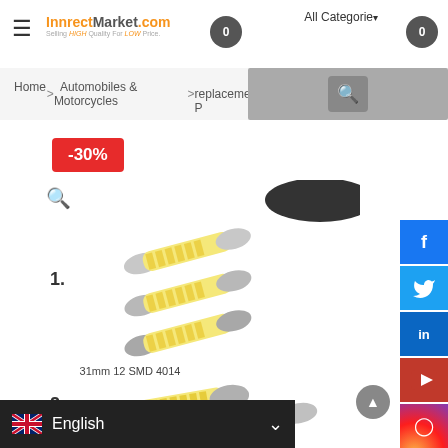[Figure (screenshot): E-commerce website header with hamburger menu, InnrectMarket.com logo, cart icon showing 0, All Categories dropdown, account icon, and search bar]
Home > Automobiles & Motorcycles > replacement P...
[Figure (photo): Product listing page showing LED festoon bulbs: item 1 shows three 31mm 12 SMD 4014 bulbs, item 2 shows 36mm 16 SMD 4014 bulbs, with a -30% discount badge and zoom icon]
English (language selector)